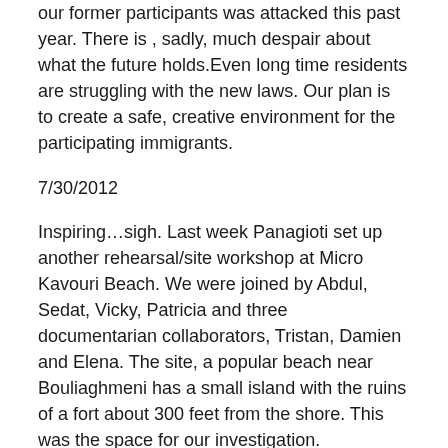our former participants was attacked this past year. There is , sadly, much despair about what the future holds.Even long time residents are struggling with the new laws. Our plan is to create a safe, creative environment for the participating immigrants.
7/30/2012
Inspiring…sigh. Last week Panagioti set up another rehearsal/site workshop at Micro Kavouri Beach. We were joined by Abdul, Sedat, Vicky, Patricia and three documentarian collaborators, Tristan, Damien and Elena. The site, a popular beach near Bouliaghmeni has a small island with the ruins of a fort about 300 feet from the shore. This was the space for our investigation.